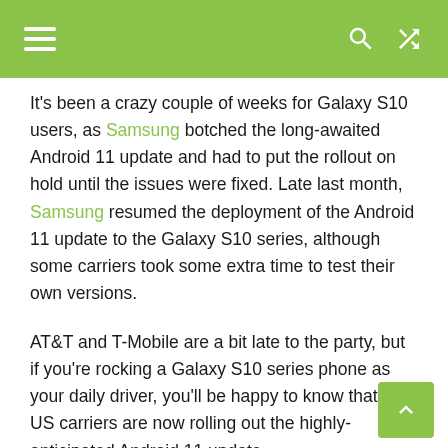Navigation header with hamburger menu, search icon, and shuffle icon on green background
It's been a crazy couple of weeks for Galaxy S10 users, as Samsung botched the long-awaited Android 11 update and had to put the rollout on hold until the issues were fixed. Late last month, Samsung resumed the deployment of the Android 11 update to the Galaxy S10 series, although some carriers took some extra time to test their own versions.
AT&T and T-Mobile are a bit late to the party, but if you're rocking a Galaxy S10 series phone as your daily driver, you'll be happy to know that both US carriers are now rolling out the highly-anticipated Android 11 update.
The update includes the January security patch and it's now available for the following Galaxy S10 models at T-Mobile and AT&T: Samsung Galaxy S10e, Samsung Galaxy S10, Samsung Galaxy S10+, and Samsung Galaxy S10 5G.